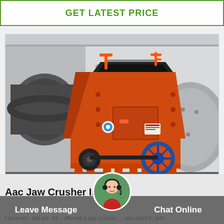GET LATEST PRICE
[Figure (photo): Orange industrial impact crusher / jaw crusher machine on a factory floor, with large cylindrical grinding mills in the background. The crusher is orange with a blue flywheel, mounted on a base frame.]
Aac Jaw Crusher In Gid
Leave Message
Chat Online
Laxmi en - fab pvt. ltd – offering a jaw crusher, , , aac plant in gidc